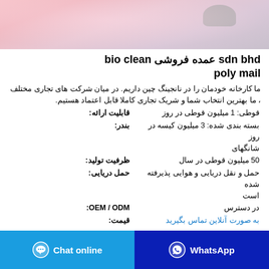[Figure (photo): Product image of a pink/rose colored canister or container with metallic lid, partially cropped]
عمده فروشی bio clean sdn bhd poly mail
ما کارخانه خودمان را در نانجینگ چین داریم. در میان شرکت های تجاری مختلف ، ما بهترین انتخاب شما و شریک تجاری کاملا قابل اعتماد هستیم.
| قوطی: 1 میلیون قوطی در روز | قابلیت ارائه: |
| بسته بندی شده: 3 میلیون کیسه در روز شانگهای | بندر: |
| 50 میلیون قوطی در سال | ظرفیت تولید: |
| حمل و نقل دریایی و هوایی پذیرفته شده است | حمل دریایی: |
| در دسترس | OEM / ODM: |
| به صورت آنلاین تماس بگیرید | قیمت: |
واتس اپ
با تامین کننده تماس بگیرید
Chat online
WhatsApp